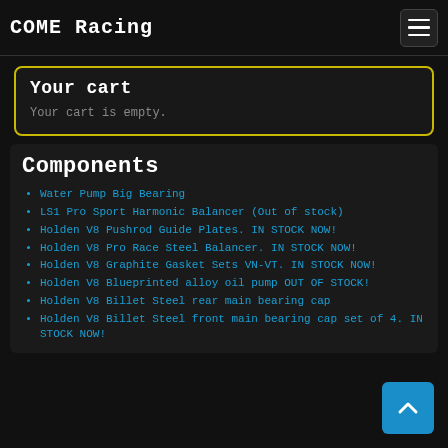COME Racing
Your cart
Your cart is empty.
Components
Water Pump Big Bearing
LS1 Pro Sport Harmonic Balancer (Out of stock)
Holden V8 Pushrod Guide Plates. IN STOCK NOW!
Holden V8 Pro Race Steel Balancer. IN STOCK NOW!
Holden V8 Graphite Gasket Sets VN-VT. IN STOCK NOW!
Holden V8 Blueprinted alloy oil pump OUT OF STOCK!
Holden V8 Billet Steel rear main bearing cap
Holden V8 Billet Steel front main bearing cap set of 4. IN STOCK NOW!